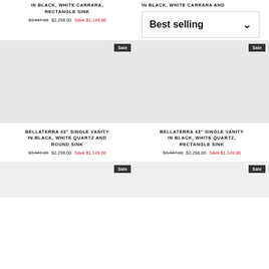IN BLACK, WHITE CARRARA, RECTANGLE SINK
$3,447.00 $2,298.00 Save $1,149.00
IN BLACK, WHITE CARRARA AND
Best selling
[Figure (screenshot): Sale badge top left product]
[Figure (screenshot): Sale badge top right product]
[Figure (photo): Left product image area - blank/white vanity photo]
BELLATERRA 43" SINGLE VANITY IN BLACK, WHITE QUARTZ AND ROUND SINK
$3,447.00 $2,298.00 Save $1,149.00
[Figure (photo): Right product image area - blank/white vanity photo]
BELLATERRA 43" SINGLE VANITY IN BLACK, WHITE QUARTZ, RECTANGLE SINK
$3,447.00 $2,298.00 Save $1,149.00
[Figure (screenshot): Sale badge bottom left product]
[Figure (screenshot): Sale badge bottom right product]